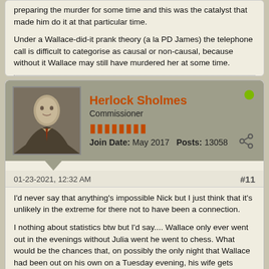preparing the murder for some time and this was the catalyst that made him do it at that particular time.
Under a Wallace-did-it prank theory (a la PD James) the telephone call is difficult to categorise as causal or non-causal, because without it Wallace may still have murdered her at some time.
Herlock Sholmes
Commissioner
Join Date: May 2017   Posts: 13058
01-23-2021, 12:32 AM
#11
I'd never say that anything's impossible Nick but I just think that it's unlikely in the extreme for there not to have been a connection.
I nothing about statistics btw but I'd say.... Wallace only ever went out in the evenings without Julia went he went to chess. What would be the chances that, on possibly the only night that Wallace had been out on his own on a Tuesday evening, his wife gets murdered? And it's on the very night that he gets this very strange message calling him to an address that didn't exist?
Regards